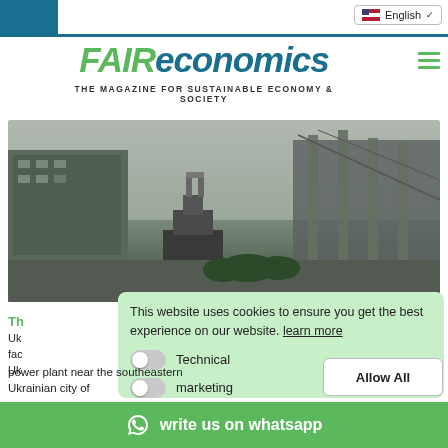FAIReconomics — THE MAGAZINE FOR SUSTAINABLE ECONOMY & SOCIETY
[Figure (screenshot): Language selector dropdown showing English with US flag and chevron]
FAIReconomics
THE MAGAZINE FOR SUSTAINABLE ECONOMY & SOCIETY
[Figure (photo): Chernobyl nuclear power plant monument and ruins in black and white / desaturated tones]
Th
Uk
fac
Uk
This website uses cookies to ensure you get the best experience on our website. learn more
Technical
marketing
Allow All
write us on whatsapp
power plant near the southeastern Ukrainian city of